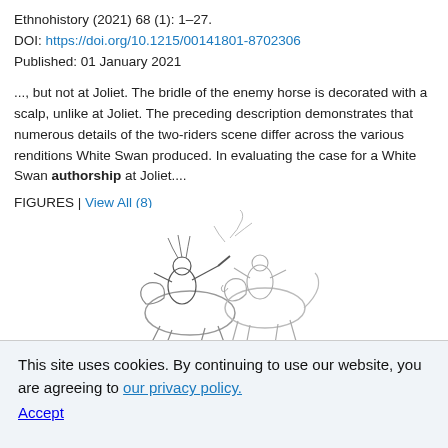Ethnohistory (2021) 68 (1): 1–27.
DOI: https://doi.org/10.1215/00141801-8702306
Published: 01 January 2021
..., but not at Joliet. The bridle of the enemy horse is decorated with a scalp, unlike at Joliet. The preceding description demonstrates that numerous details of the two-riders scene differ across the various renditions White Swan produced. In evaluating the case for a White Swan authorship at Joliet....
FIGURES | View All (8)
[Figure (illustration): Line drawing of two horse riders in combat, a Native American battle scene sketch]
This site uses cookies. By continuing to use our website, you are agreeing to our privacy policy. Accept